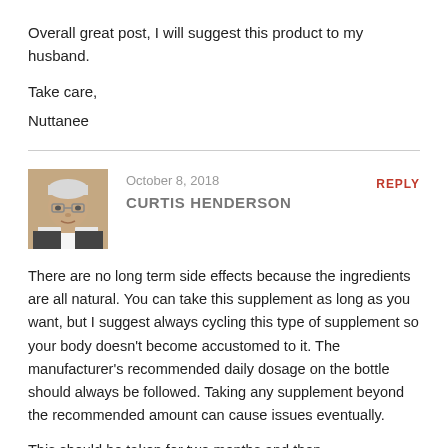Overall great post, I will suggest this product to my husband.
Take care,
Nuttanee
[Figure (photo): Avatar photo of Curtis Henderson, an older man with grey hair and glasses]
October 8, 2018
CURTIS HENDERSON
REPLY
There are no long term side effects because the ingredients are all natural. You can take this supplement as long as you want, but I suggest always cycling this type of supplement so your body doesn’t become accustomed to it. The manufacturer’s recommended daily dosage on the bottle should always be followed. Taking any supplement beyond the recommended amount can cause issues eventually.
This should be taken for two months and then